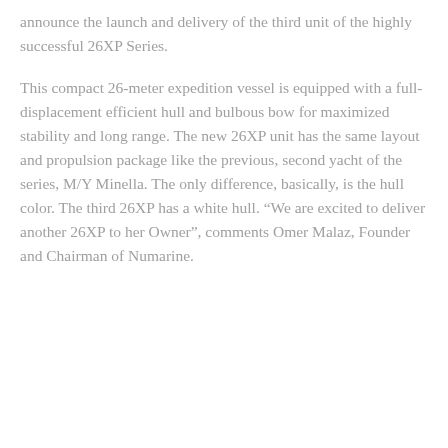announce the launch and delivery of the third unit of the highly successful 26XP Series.
This compact 26-meter expedition vessel is equipped with a full-displacement efficient hull and bulbous bow for maximized stability and long range. The new 26XP unit has the same layout and propulsion package like the previous, second yacht of the series, M/Y Minella. The only difference, basically, is the hull color. The third 26XP has a white hull. “We are excited to deliver another 26XP to her Owner”, comments Omer Malaz, Founder and Chairman of Numarine.